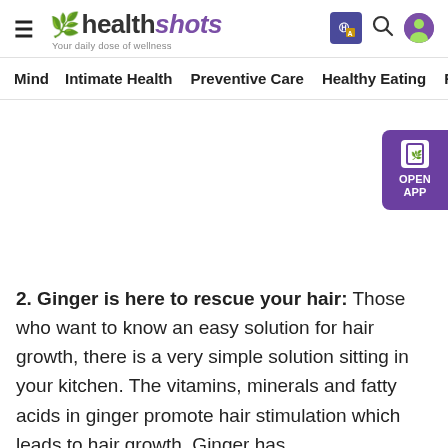healthshots — Your daily dose of wellness
Mind | Intimate Health | Preventive Care | Healthy Eating | Fit
[Figure (other): Advertisement / banner area (blank)]
[Figure (other): OPEN APP button widget on right side]
2. Ginger is here to rescue your hair: Those who want to know an easy solution for hair growth, there is a very simple solution sitting in your kitchen. The vitamins, minerals and fatty acids in ginger promote hair stimulation which leads to hair growth. Ginger has